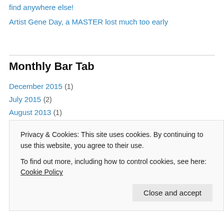find anywhere else!
Artist Gene Day, a MASTER lost much too early
Monthly Bar Tab
December 2015 (1)
July 2015 (2)
August 2013 (1)
July 2013 (3)
January 2013 (5)
December 2012 (1)
May 2012 (1)
April 2012 (1)
Privacy & Cookies: This site uses cookies. By continuing to use this website, you agree to their use. To find out more, including how to control cookies, see here: Cookie Policy
Close and accept